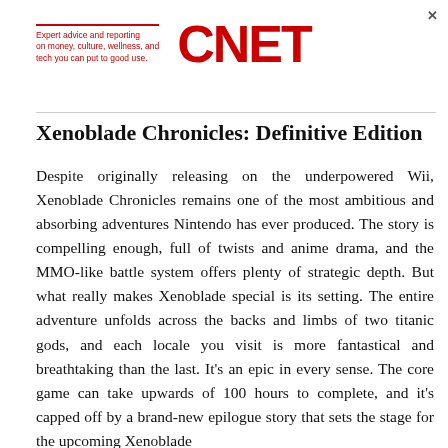[Figure (logo): CNET logo with red text and tagline 'Expert advice and reporting on money, culture, wellness, and tech you can put to good use.' with a red top border line]
Xenoblade Chronicles: Definitive Edition
Despite originally releasing on the underpowered Wii, Xenoblade Chronicles remains one of the most ambitious and absorbing adventures Nintendo has ever produced. The story is compelling enough, full of twists and anime drama, and the MMO-like battle system offers plenty of strategic depth. But what really makes Xenoblade special is its setting. The entire adventure unfolds across the backs and limbs of two titanic gods, and each locale you visit is more fantastical and breathtaking than the last. It's an epic in every sense. The core game can take upwards of 100 hours to complete, and it's capped off by a brand-new epilogue story that sets the stage for the upcoming Xenoblade...